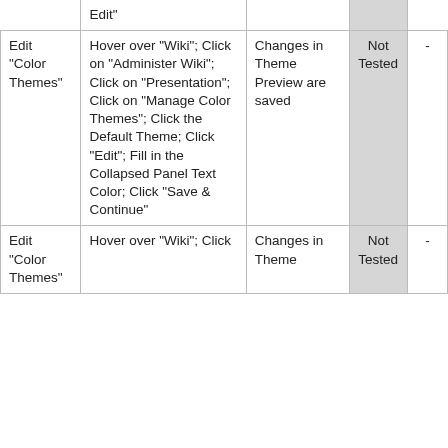|  |  |  |  |  |
| --- | --- | --- | --- | --- |
| Edit "Color Themes" | Hover over "Wiki"; Click on "Administer Wiki"; Click on "Presentation"; Click on "Manage Color Themes"; Click the Default Theme; Click "Edit"; Fill in the Collapsed Panel Text Color; Click "Save & Continue" | Changes in Theme Preview are saved | Not Tested | - |
| Edit "Color Themes" | Hover over "Wiki"; Click | Changes in Theme | Not Tested | - |